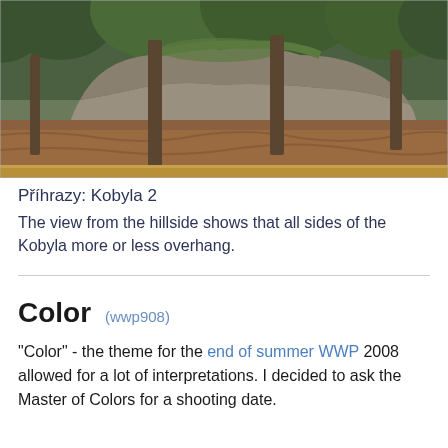[Figure (photo): Outdoor forest scene showing large sandstone rock formation (Kobyla) covered in moss on top, surrounded by tall pine trees and a forest floor covered in brown fallen leaves.]
Příhrazy: Kobyla 2
The view from the hillside shows that all sides of the Kobyla more or less overhang.
Color (wwp908)
"Color" - the theme for the end of summer WWP 2008 allowed for a lot of interpretations. I decided to ask the Master of Colors for a shooting date.